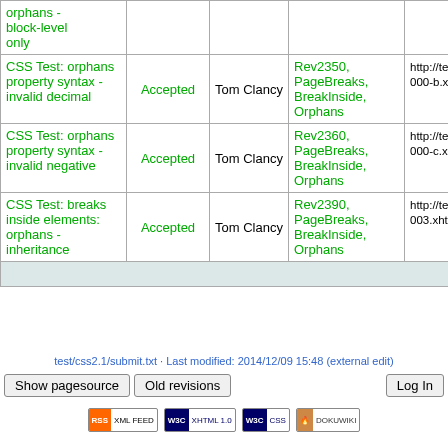| Name | Status | Author | Tags | URL |
| --- | --- | --- | --- | --- |
| orphans - block-level only |  |  |  |  |
| CSS Test: orphans property syntax - invalid decimal | Accepted | Tom Clancy | Rev2350, PageBreaks, BreakInside, Orphans | http://test.csswg./000-b.xht |
| CSS Test: orphans property syntax - invalid negative | Accepted | Tom Clancy | Rev2360, PageBreaks, BreakInside, Orphans | http://test.csswg./000-c.xht |
| CSS Test: breaks inside elements: orphans - inheritance | Accepted | Tom Clancy | Rev2390, PageBreaks, BreakInside, Orphans | http://test.csswg./003.xht |
test/css2.1/submit.txt · Last modified: 2014/12/09 15:48 (external edit)
Show pagesource | Old revisions | Log In